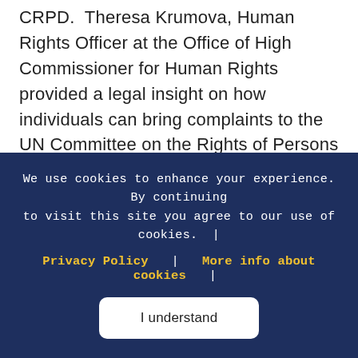CRPD.  Theresa Krumova, Human Rights Officer at the Office of High Commissioner for Human Rights provided a legal insight on how individuals can bring complaints to the UN Committee on the Rights of Persons with Disabilities (UN CRPD).
The UN Optional Protocol to the Convention on the Elimination of All Forms of Discrimination against Women is the protocol that establishes complaint and inquiry mechanism for CEDAW Committee.  The
We use cookies to enhance your experience. By continuing to visit this site you agree to our use of cookies.  |
Privacy Policy | More info about cookies |
I understand